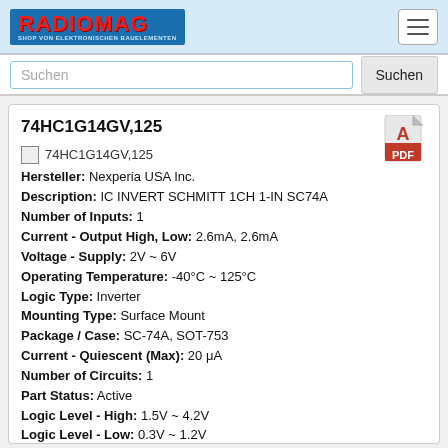[Figure (logo): Radiomag logo - red text on blue background with tagline 'SHOP VON ELEKTRONISCHEN BAUELEMENTEN']
Suchen
74HC1G14GV,125
[Figure (photo): Product image placeholder for 74HC1G14GV,125]
Hersteller: Nexperia USA Inc.
Description: IC INVERT SCHMITT 1CH 1-IN SC74A
Number of Inputs: 1
Current - Output High, Low: 2.6mA, 2.6mA
Voltage - Supply: 2V ~ 6V
Operating Temperature: -40°C ~ 125°C
Logic Type: Inverter
Mounting Type: Surface Mount
Package / Case: SC-74A, SOT-753
Current - Quiescent (Max): 20 μA
Number of Circuits: 1
Part Status: Active
Logic Level - High: 1.5V ~ 4.2V
Logic Level - Low: 0.3V ~ 1.2V
Max Propagation Delay @ V, Max CL: 32ns @ 6V, 50pF
Supplier Device Package: SC-74A
Features: Schmitt Trigger
Packaging: Tape & Reel (TR)